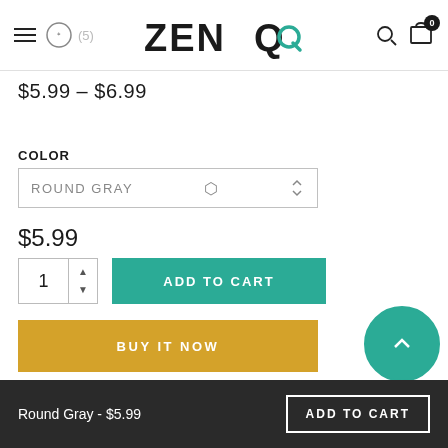ZENQ
$5.99 – $6.99
COLOR
ROUND GRAY
$5.99
1
ADD TO CART
BUY IT NOW
Round Gray - $5.99  ADD TO CART